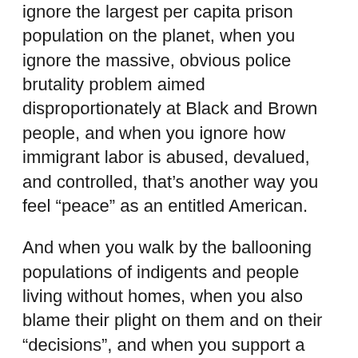ignore the largest per capita prison population on the planet, when you ignore the massive, obvious police brutality problem aimed disproportionately at Black and Brown people, and when you ignore how immigrant labor is abused, devalued, and controlled, that's another way you feel “peace” as an entitled American.
And when you walk by the ballooning populations of indigents and people living without homes, when you also blame their plight on them and on their “decisions”, and when you support a political regime that treats these people worse than most other advanced nations on earth to save a couple bucks for the oligarchy, that is when you feel “peace” as an entitled, classist American.